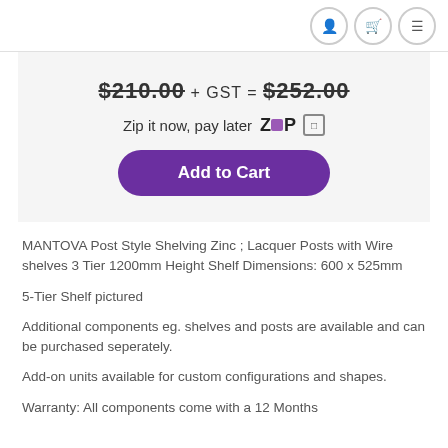Navigation icons: user, cart, menu
$210.00 + GST = $252.00
Zip it now, pay later  [Zip logo]  [info icon]
Add to Cart
MANTOVA Post Style Shelving Zinc ; Lacquer Posts with Wire shelves 3 Tier 1200mm Height Shelf Dimensions: 600 x 525mm
5-Tier Shelf pictured
Additional components eg. shelves and posts are available and can be purchased seperately.
Add-on units available for custom configurations and shapes.
Warranty: All components come with a 12 Months